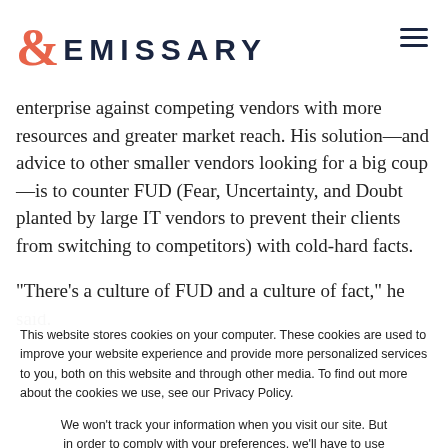& EMISSARY
enterprise against competing vendors with more resources and greater market reach. His solution—and advice to other smaller vendors looking for a big coup—is to counter FUD (Fear, Uncertainty, and Doubt planted by large IT vendors to prevent their clients from switching to competitors) with cold-hard facts.
“There’s a culture of FUD and a culture of fact,” he said.
This website stores cookies on your computer. These cookies are used to improve your website experience and provide more personalized services to you, both on this website and through other media. To find out more about the cookies we use, see our Privacy Policy.
We won’t track your information when you visit our site. But in order to comply with your preferences, we’ll have to use just one tiny cookie so that you’re not asked to make this choice again.